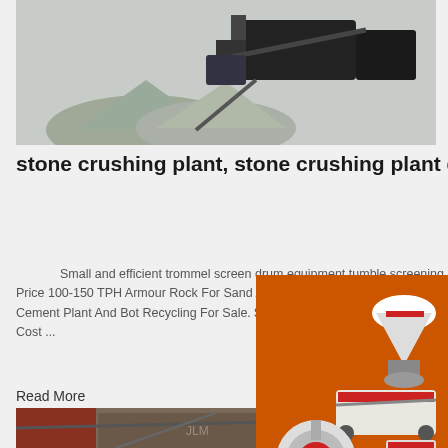[Figure (photo): Stone crushing plant equipment with piles of crushed stone/aggregate material, heavy machinery visible]
stone crushing plant, stone crushing plant direct from ...
Small and efficient trommel screen drum equipment tumble screening machine for sale. Competitive Price 100-150 TPH Armour Rock For Sand Aggregate Production Plant. $ ... Ha Glass Crusher Used In Cement Plant And Bot Recycling For Sale. $13,300.00 / Set. 1 Set (M Box Type Stone Crusher Machine Cost ...
Read More
[Figure (photo): Stone crushing plant with industrial equipment, conveyors, and machinery]
[Figure (infographic): Orange sidebar advertisement showing crushing/mining equipment with text: Enjoy 3% discount, Click to Chat, Enquiry, limingjlmofen@sina.com]